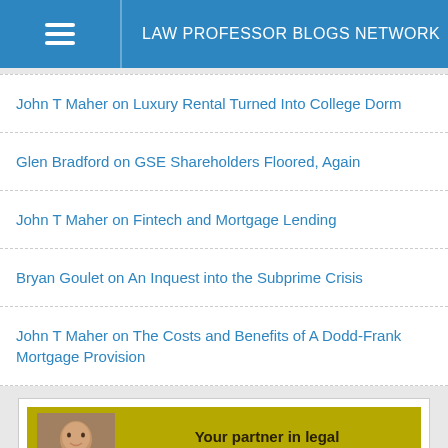LAW PROFESSOR BLOGS NETWORK
John T Maher on Luxury Rental Turned Into College Dorm
Glen Bradford on GSE Shareholders Floored, Again
John T Maher on Fintech and Mortgage Lending
Bryan Goulet on An Inquest into the Subprime Crisis
John T Maher on The Costs and Benefits of A Dodd-Frank Mortgage Provision
[Figure (advertisement): CALI advertisement banner: Your partner in legal education and technology! www.cali.org, with person photo on olive/gold background, and CALI logo below]